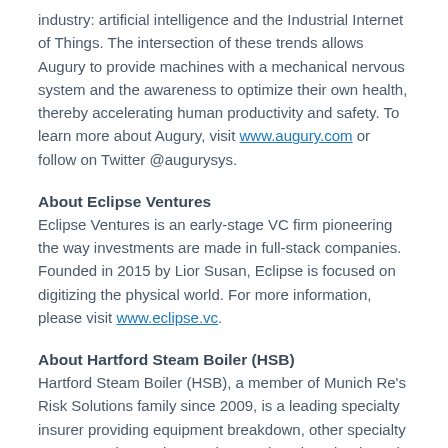industry: artificial intelligence and the Industrial Internet of Things. The intersection of these trends allows Augury to provide machines with a mechanical nervous system and the awareness to optimize their own health, thereby accelerating human productivity and safety. To learn more about Augury, visit www.augury.com or follow on Twitter @augurysys.
About Eclipse Ventures
Eclipse Ventures is an early-stage VC firm pioneering the way investments are made in full-stack companies. Founded in 2015 by Lior Susan, Eclipse is focused on digitizing the physical world. For more information, please visit www.eclipse.vc.
About Hartford Steam Boiler (HSB)
Hartford Steam Boiler (HSB), a member of Munich Re's Risk Solutions family since 2009, is a leading specialty insurer providing equipment breakdown, other specialty coverages, inspection services and engineering-based risk management that set the standard for excellence worldwide. We focus on clients and partner with them to craft inventive insurance and service solutions to cover existing and emerging risks